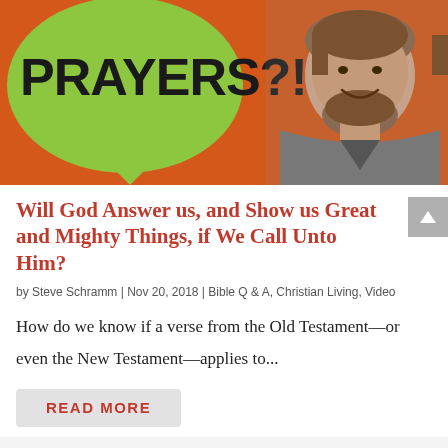[Figure (illustration): Orange banner with a green speech bubble containing the text 'PRAYERS?!' in bold black font, and a smiling man with a beard on the right side against the orange background.]
Will God Answer us, and Show us Great and Mighty Things, if We Call Unto Him?
by Steve Schramm | Nov 20, 2018 | Bible Q & A, Christian Living, Video
How do we know if a verse from the Old Testament—or even the New Testament—applies to...
READ MORE